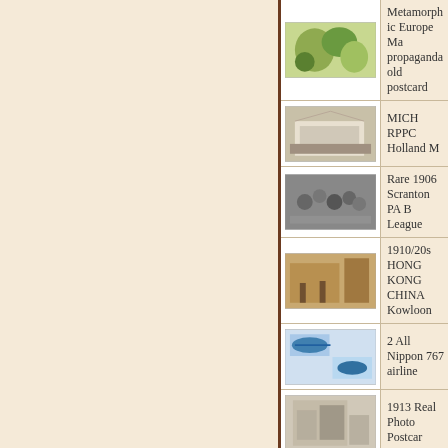[Figure (photo): Metamorphic Europe Map propaganda old postcard thumbnail]
Metamorphic Europe Ma propaganda old postcard
[Figure (photo): MICH RPPC Holland M thumbnail]
MICH RPPC Holland M
[Figure (photo): Rare 1906 Scranton PA League thumbnail]
Rare 1906 Scranton PA League
[Figure (photo): 1910/20s HONG KONG CHINA Kowloon thumbnail]
1910/20s HONG KONG CHINA Kowloon
[Figure (photo): 2 All Nippon 767 airline thumbnail]
2 All Nippon 767 airline
[Figure (photo): 1913 Real Photo Postcard thumbnail]
1913 Real Photo Postcard
[Figure (photo): Vintage St. Andrew's Go thumbnail]
Vintage St. Andrew's Go